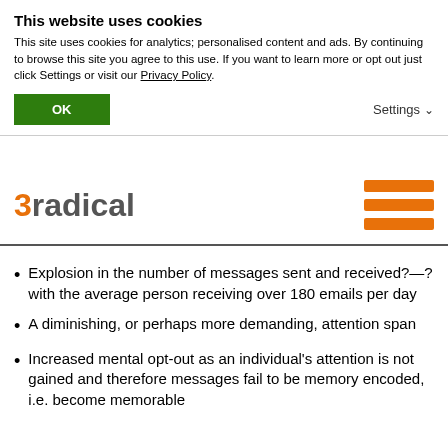This website uses cookies
This site uses cookies for analytics; personalised content and ads. By continuing to browse this site you agree to this use. If you want to learn more or opt out just click Settings or visit our Privacy Policy.
[Figure (screenshot): Cookie consent banner with OK button and Settings dropdown link]
[Figure (logo): 3radical logo with orange '3' and grey 'radical' text, and orange hamburger menu icon]
Explosion in the number of messages sent and received?—?with the average person receiving over 180 emails per day
A diminishing, or perhaps more demanding, attention span
Increased mental opt-out as an individual's attention is not gained and therefore messages fail to be memory encoded, i.e. become memorable